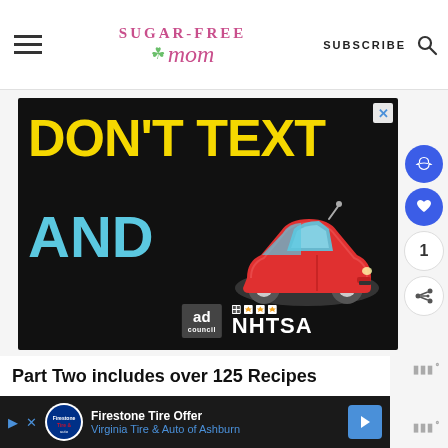Sugar-Free Mom | SUBSCRIBE
[Figure (screenshot): Advertisement: DON'T TEXT AND [car emoji] - Ad Council / NHTSA distracted driving public service announcement on black background with yellow and cyan text]
Part Two includes over 125 Recipes
[Figure (screenshot): Firestone Tire Offer - Virginia Tire & Auto of Ashburn bottom advertisement bar]